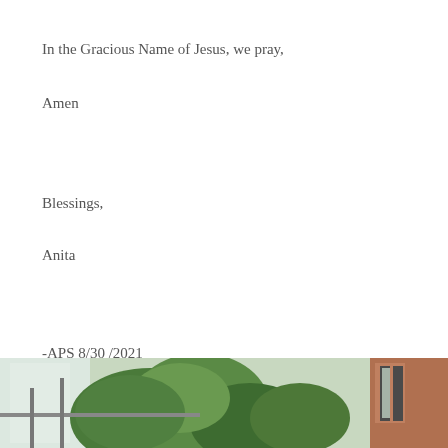In the Gracious Name of Jesus, we pray,
Amen
Blessings,
Anita
-APS 8/30 /2021
[Figure (photo): Outdoor photo showing green foliage/plants and a building with shutters and windows visible in the background]